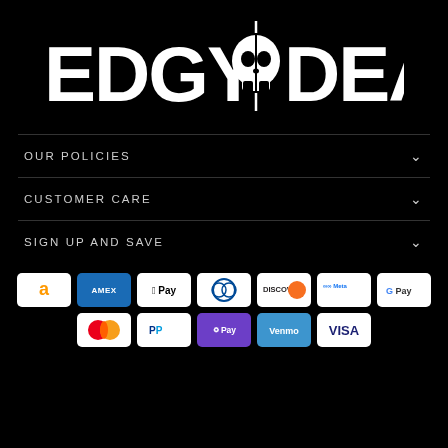[Figure (logo): Edgy Deals logo: large white bold text 'EDGY DEALS' with a skull icon in the center on black background]
OUR POLICIES
CUSTOMER CARE
SIGN UP AND SAVE
[Figure (other): Payment method icons: Amazon, Amex, Apple Pay, Diners Club, Discover, Meta Pay, Google Pay, Mastercard, PayPal, OPay, Venmo, Visa]